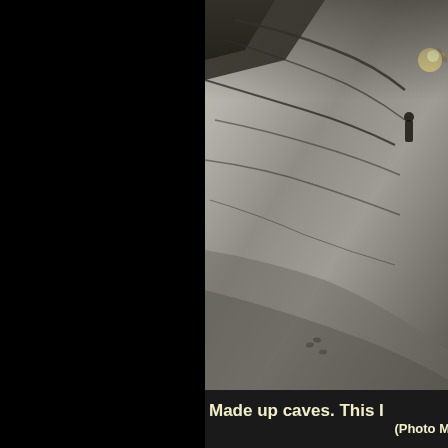[Figure (photo): Interior photograph of a cave showing smooth rock walls with dark veining lines, dimly lit with a warm light visible in the upper right corner, and a small human figure visible in the background.]
Made up caves. This I (Photo M